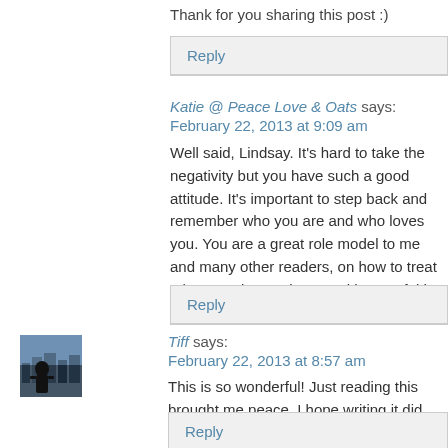Thank for you sharing this post :)
Reply
Katie @ Peace Love & Oats says:
February 22, 2013 at 9:09 am
Well said, Lindsay. It's hard to take the negativity but you have such a good attitude. It's important to step back and remember who you are and who loves you. You are a great role model to me and many other readers, on how to treat others, on how to love, and in your faith.
Reply
Tiff says:
February 22, 2013 at 8:57 am
This is so wonderful! Just reading this brought me peace. I hope writing it did the same for you. God Bless!
Reply